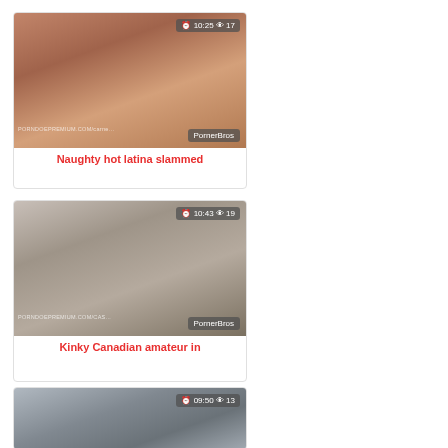[Figure (screenshot): Video thumbnail for 'Naughty hot latina slammed' with overlay showing 10:25 duration and 17 views, PornerBros watermark]
Naughty hot latina slammed
[Figure (screenshot): Video thumbnail for 'Kinky Canadian amateur in' with overlay showing 10:43 duration and 19 views, PornerBros watermark]
Kinky Canadian amateur in
[Figure (screenshot): Video thumbnail with overlay showing 09:50 duration and 13 views, partially visible]